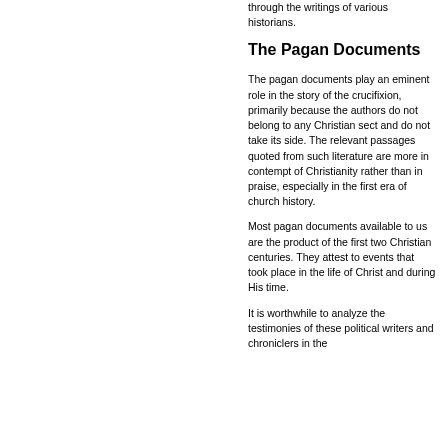through the writings of various historians.
The Pagan Documents
The pagan documents play an eminent role in the story of the crucifixion, primarily because the authors do not belong to any Christian sect and do not take its side. The relevant passages quoted from such literature are more in contempt of Christianity rather than in praise, especially in the first era of church history.
Most pagan documents available to us are the product of the first two Christian centuries. They attest to events that took place in the life of Christ and during His time.
It is worthwhile to analyze the testimonies of these political writers and chroniclers in the